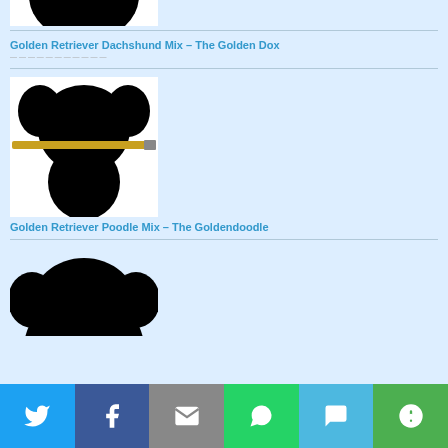[Figure (photo): Silhouette of a Golden Retriever Dachshund mix dog, partially cropped at top]
Golden Retriever Dachshund Mix – The Golden Dox
[Figure (photo): Black silhouette of a Golden Retriever Poodle mix puppy holding a pencil/stick in its mouth]
Golden Retriever Poodle Mix – The Goldendoodle
[Figure (photo): Black silhouette of a dog head, partially visible at bottom of page]
[Figure (infographic): Social share bar with Twitter, Facebook, Email, WhatsApp, SMS, and More buttons]